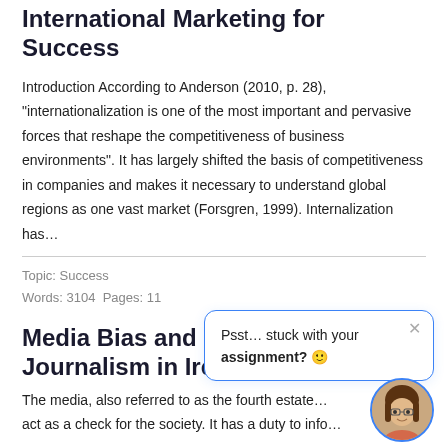International Marketing for Success
Introduction According to Anderson (2010, p. 28), “internationalization is one of the most important and pervasive forces that reshape the competitiveness of business environments”. It has largely shifted the basis of competitiveness in companies and makes it necessary to understand global regions as one vast market (Forsgren, 1999). Internalization has…
Topic: Success
Words: 3104  Pages: 11
Media Bias and i… Journalism in Ireland
The media, also referred to as the fourth estate… act as a check for the society. It has a duty to info…
[Figure (other): Chat popup overlay with text: Psst... stuck with your assignment? 🙂 and a close button, plus a circular avatar photo of a woman with glasses]